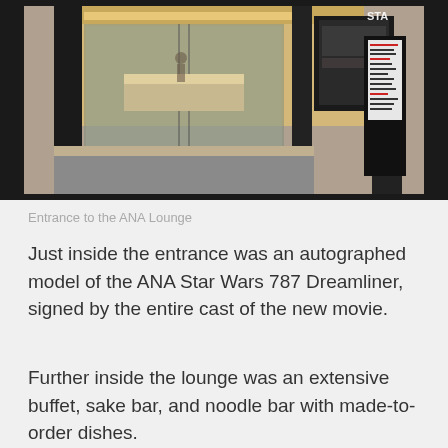[Figure (photo): Entrance to the ANA Lounge — glass doors, reception desk area, a tall digital signage display on the right, warm interior lighting visible inside]
Entrance to the ANA Lounge
Just inside the entrance was an autographed model of the ANA Star Wars 787 Dreamliner, signed by the entire cast of the new movie.
Further inside the lounge was an extensive buffet, sake bar, and noodle bar with made-to-order dishes.